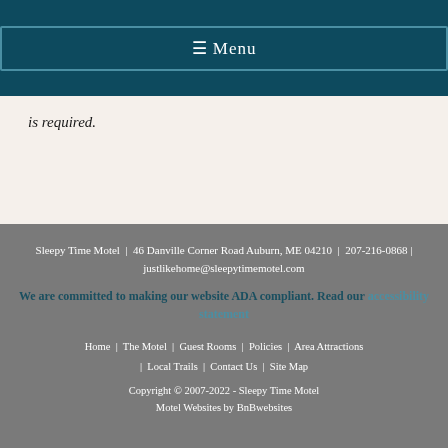≡ Menu
is required.
Sleepy Time Motel | 46 Danville Corner Road Auburn, ME 04210 | 207-216-0868 | justlikehome@sleepytimemotel.com
We are committed to making our website ADA compliant. Read our accessibility statement
Home | The Motel | Guest Rooms | Policies | Area Attractions | Local Trails | Contact Us | Site Map
Copyright © 2007-2022 - Sleepy Time Motel
Motel Websites by BnBwebsites